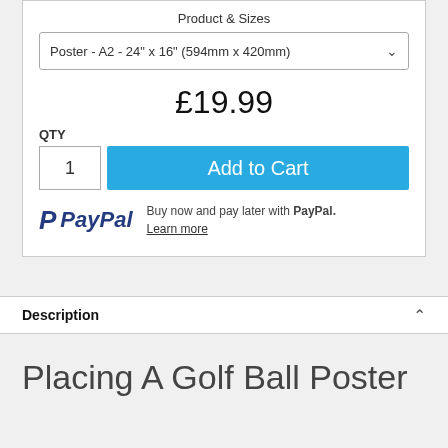Product & Sizes
Poster - A2 - 24" x 16" (594mm x 420mm)
£19.99
QTY
1
Add to Cart
[Figure (logo): PayPal logo with P icon and PayPal text in dark blue italic]
Buy now and pay later with PayPal. Learn more
Description
Placing A Golf Ball Poster